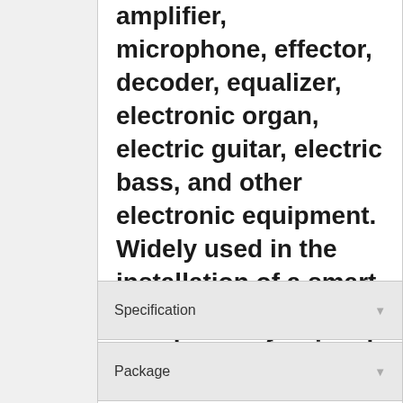amplifier, microphone, effector, decoder, equalizer, electronic organ, electric guitar, electric bass, and other electronic equipment. Widely used in the installation of a smart home, karaoke speaker, professional stage audio, etc.
Specification
Package